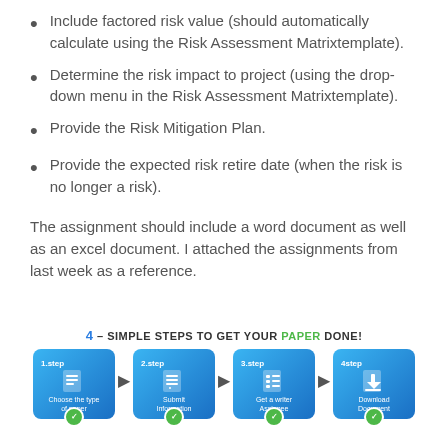Include factored risk value (should automatically calculate using the Risk Assessment Matrixtemplate).
Determine the risk impact to project (using the drop-down menu in the Risk Assessment Matrixtemplate).
Provide the Risk Mitigation Plan.
Provide the expected risk retire date (when the risk is no longer a risk).
The assignment should include a word document as well as an excel document. I attached the assignments from last week as a reference.
[Figure (infographic): 4 Simple Steps to Get Your Paper Done infographic showing four blue boxes labeled: 1.step Choose the type of paper, 2.step Submit Information, 3.step Get a writer Assignee, 4.step Download Document, connected by arrows with green checkmarks.]